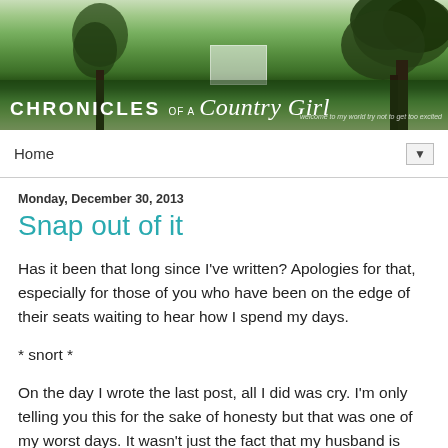[Figure (photo): Blog header banner showing a country estate with large trees, green lawn, and white house. Text overlay reads 'CHRONICLES OF A Country Girl' with taglines 'welcome to my world' and 'try not to get too excited']
Home ▼
Monday, December 30, 2013
Snap out of it
Has it been that long since I've written? Apologies for that, especially for those of you who have been on the edge of their seats waiting to hear how I spend my days.
* snort *
On the day I wrote the last post, all I did was cry. I'm only telling you this for the sake of honesty but that was one of my worst days. It wasn't just the fact that my husband is gone. I think it was a mix of holiday blues, things going on in